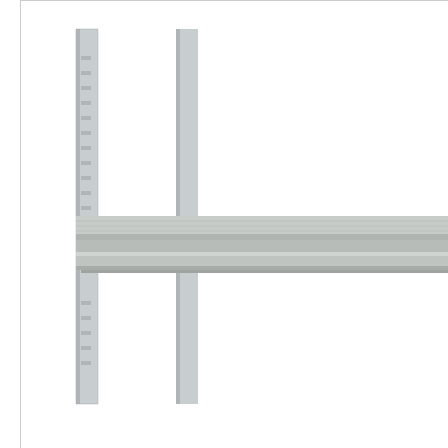[Figure (photo): Metal shelving unit with upright posts and a single shelf level, shown from a front-angle perspective on white background]
Additional shelf suitable for bays....
View Type:
Items Per Page:  12  24
Copyright © 2019 Shop Equipment & Design Limited
Registered In England & Wales. Company No: 10337848
VAT Registration No: GB-280254809
Tel: +44 (0)1202 864510
Fax: +44 (0)1223 327859
Email: sales@shopequip.co.uk